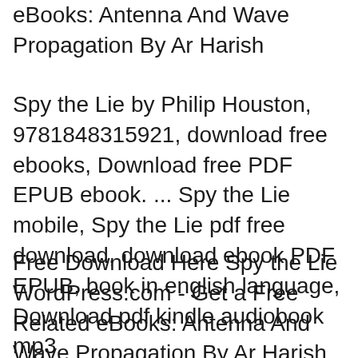eBooks: Antenna And Wave Propagation By Ar Harish
Spy the Lie by Philip Houston, 9781848315921, download free ebooks, Download free PDF EPUB ebook. ... Spy the Lie mobile, Spy the Lie pdf free download, download ebook PDF EPUB, book in english language, Download pdf kindle audiobook mp3
Free Download Here Spy the Lie WordPress.com - Get a Free Related eBooks: Antenna And Wave Propagation By Ar Harish spy the lie free download Download spy the lie free download or read online books in PDF, EPUB, Tuebl, and Mobi Format. Click Download or